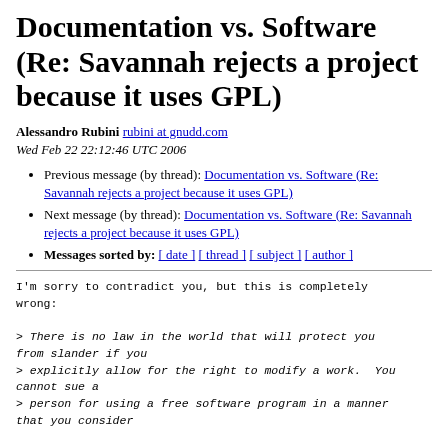Documentation vs. Software (Re: Savannah rejects a project because it uses GPL)
Alessandro Rubini rubini at gnudd.com
Wed Feb 22 22:12:46 UTC 2006
Previous message (by thread): Documentation vs. Software (Re: Savannah rejects a project because it uses GPL)
Next message (by thread): Documentation vs. Software (Re: Savannah rejects a project because it uses GPL)
Messages sorted by: [ date ] [ thread ] [ subject ] [ author ]
I'm sorry to contradict you, but this is completely
wrong:

> There is no law in the world that will protect you
from slander if you
> explicitly allow for the right to modify a work.  You
cannot sue a
> person for using a free software program in a manner
that you consider